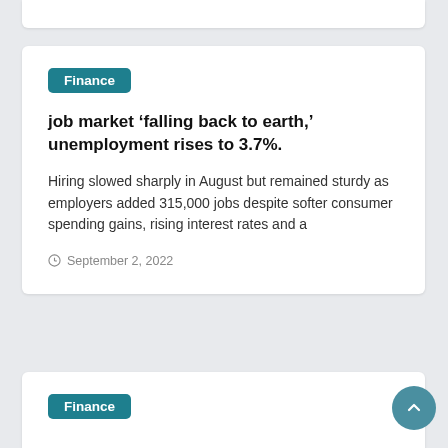Finance
job market ‘falling back to earth,’ unemployment rises to 3.7%.
Hiring slowed sharply in August but remained sturdy as employers added 315,000 jobs despite softer consumer spending gains, rising interest rates and a
September 2, 2022
Finance